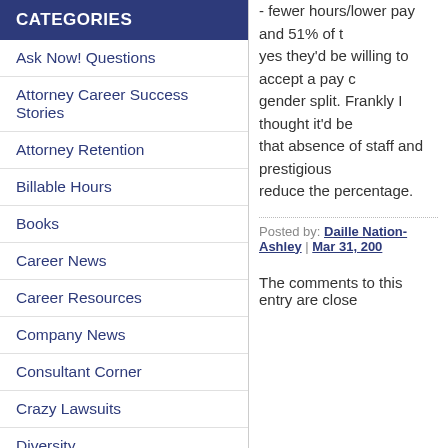CATEGORIES
Ask Now! Questions
Attorney Career Success Stories
Attorney Retention
Billable Hours
Books
Career News
Career Resources
Company News
Consultant Corner
Crazy Lawsuits
Diversity
Events
Famous Lawyers
- fewer hours/lower pay and 51% of t... yes they'd be willing to accept a pay c... gender split. Frankly I thought it'd be ... that absence of staff and prestigious ... reduce the percentage.
Posted by: Daille Nation-Ashley | Mar 31, 200...
The comments to this entry are close...